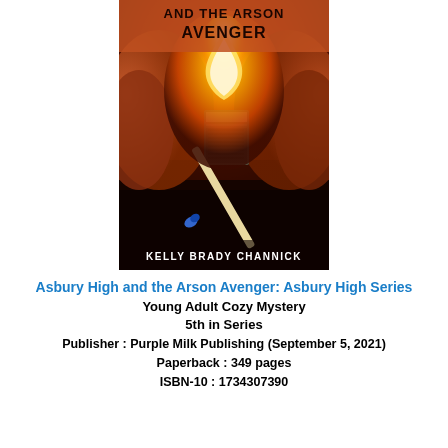[Figure (photo): Book cover for 'Asbury High and the Arson Avenger' by Kelly Brady Channick. Shows a dramatic close-up of a lit match with orange flames and a blue matchstick tip against a dark background. The title text appears at the top in dark blocky letters on a fiery orange background, and the author name 'KELLY BRADY CHANNICK' appears at the bottom in white text.]
Asbury High and the Arson Avenger: Asbury High Series
Young Adult Cozy Mystery
5th in Series
Publisher : Purple Milk Publishing (September 5, 2021)
Paperback : 349 pages
ISBN-10 : 1734307390